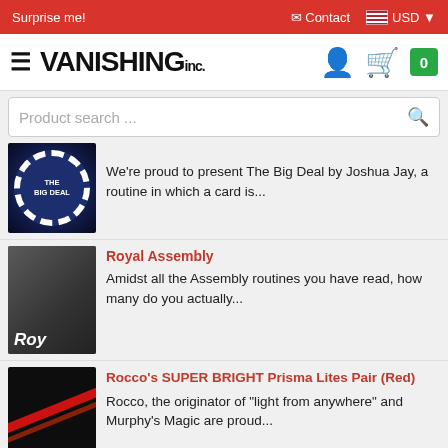Surprise me! | Contact | USD
VANISHING inc.
Product search ...
We're proud to present The Big Deal by Joshua Jay, a routine in which a card is...
Royal Assembly
Amidst all the Assembly routines you have read, how many do you actually...
Rocco's SUPER BRIGHT Prisma Lites Pair (Red)
Rocco, the originator of "light from anywhere" and Murphy's Magic are proud...
Bluff Shift Bundle